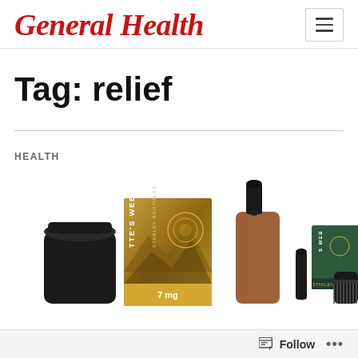General Health
Tag: relief
HEALTH
[Figure (photo): Charlotte's Web CBD oil products including amber dropper bottle, product boxes labeled 'TE'S WEB STANLEY BROTHERS' with 7mg, and related accessories arranged on white background.]
Follow ...